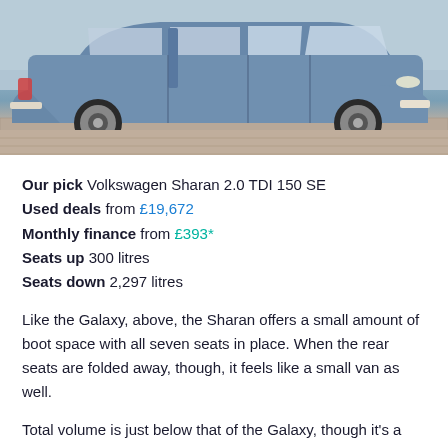[Figure (photo): Side view of a blue Volkswagen Sharan with sliding door open, parked on a brick surface near water]
Our pick Volkswagen Sharan 2.0 TDI 150 SE
Used deals from £19,672
Monthly finance from £393*
Seats up 300 litres
Seats down 2,297 litres
Like the Galaxy, above, the Sharan offers a small amount of boot space with all seven seats in place. When the rear seats are folded away, though, it feels like a small van as well.
Total volume is just below that of the Galaxy, though it's a close-run thing. Either way, this is one big-booted machine that can cope with big dogs, flat-pack